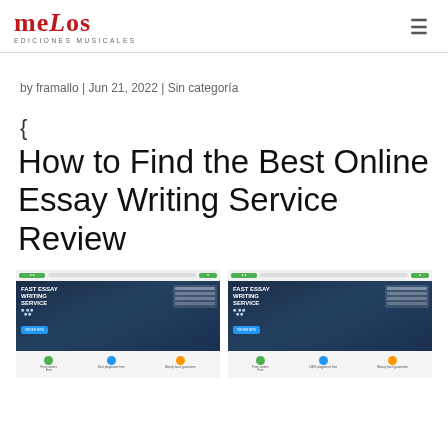[Figure (logo): Melos Ediciones Musicales logo — stylized red serif text 'Melos' with subtitle 'EDICIONES MUSICALES']
by framallo | Jun 21, 2022 | Sin categoría
{
How to Find the Best Online Essay Writing Service Review
[Figure (screenshot): Two side-by-side screenshots of a website showing 'Fast Essay Writing Service' with a dark blue background, people at computers, and features listed below]
[Figure (screenshot): Second screenshot of the same Fast Essay Writing Service website]